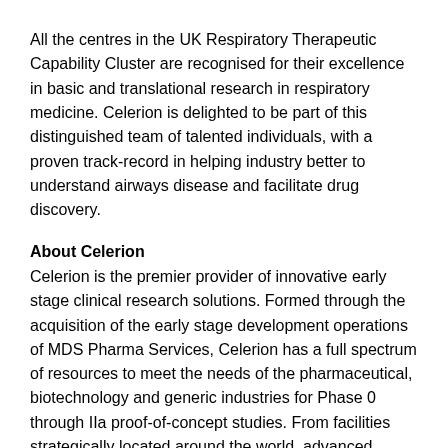All the centres in the UK Respiratory Therapeutic Capability Cluster are recognised for their excellence in basic and translational research in respiratory medicine. Celerion is delighted to be part of this distinguished team of talented individuals, with a proven track-record in helping industry better to understand airways disease and facilitate drug discovery.
About Celerion
Celerion is the premier provider of innovative early stage clinical research solutions. Formed through the acquisition of the early stage development operations of MDS Pharma Services, Celerion has a full spectrum of resources to meet the needs of the pharmaceutical, biotechnology and generic industries for Phase 0 through IIa proof-of-concept studies. From facilities strategically located around the world, advanced scientific and technological expertise is applied to clinical research (Phases 0, I and IIa, NDA-enabling clinical pharmacology, ADME), clinical pharmacology sciences...